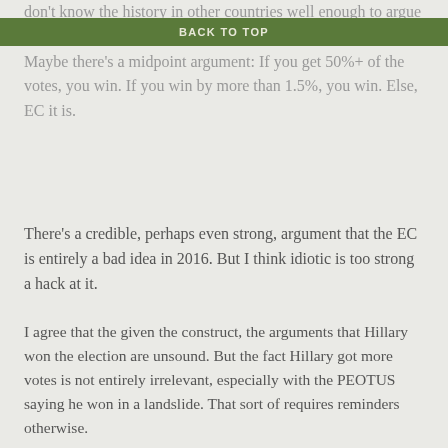don't know the history in other countries well enough to argue that point either way, but it seems like a potential catastrophe. Maybe there's a midpoint argument: If you get 50%+ of the votes, you win. If you win by more than 1.5%, you win. Else, EC it is.
BACK TO TOP
There's a credible, perhaps even strong, argument that the EC is entirely a bad idea in 2016. But I think idiotic is too strong a hack at it.
I agree that the given the construct, the arguments that Hillary won the election are unsound. But the fact Hillary got more votes is not entirely irrelevant, especially with the PEOTUS saying he won in a landslide. That sort of requires reminders otherwise.